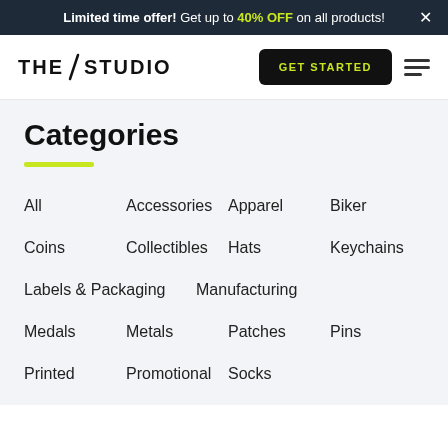Limited time offer! Get up to 40% OFF on all products! ×
[Figure (logo): THE/STUDIO logo with diagonal slash between THE and STUDIO]
GET STARTED
Categories
All
Accessories
Apparel
Biker
Coins
Collectibles
Hats
Keychains
Labels & Packaging
Manufacturing
Medals
Metals
Patches
Pins
Printed
Promotional
Socks